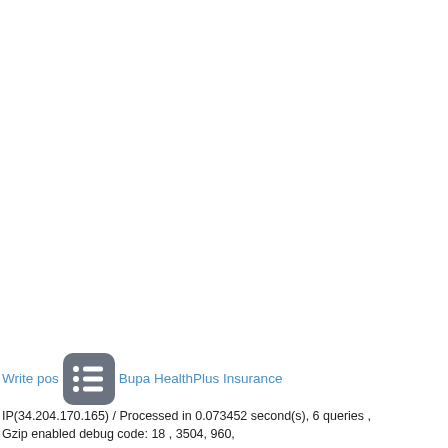Write post… Bupa HealthPlus Insurance
IP(34.204.170.165) / Processed in 0.073452 second(s), 6 queries ,
Gzip enabled debug code: 18 , 3504, 960,